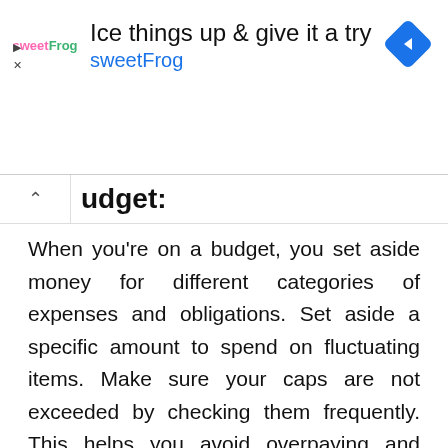[Figure (other): Advertisement banner for sweetFrog frozen yogurt. Shows sweetFrog logo, text 'Ice things up & give it a try' and 'sweetFrog', with a blue diamond navigation icon on the right.]
udget:
When you're on a budget, you set aside money for different categories of expenses and obligations. Set aside a specific amount to spend on fluctuating items. Make sure your caps are not exceeded by checking them frequently. This helps you avoid overpaying and enables you to accomplish financial goals.